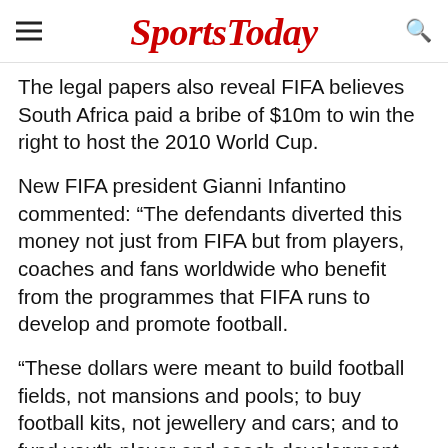SportsToday
The legal papers also reveal FIFA believes South Africa paid a bribe of $10m to win the right to host the 2010 World Cup.
New FIFA president Gianni Infantino commented: “The defendants diverted this money not just from FIFA but from players, coaches and fans worldwide who benefit from the programmes that FIFA runs to develop and promote football.
“These dollars were meant to build football fields, not mansions and pools; to buy football kits, not jewellery and cars; and to fund youth player and coach development, not to underwrite lavish lifestyles for football and sports marketing executives.